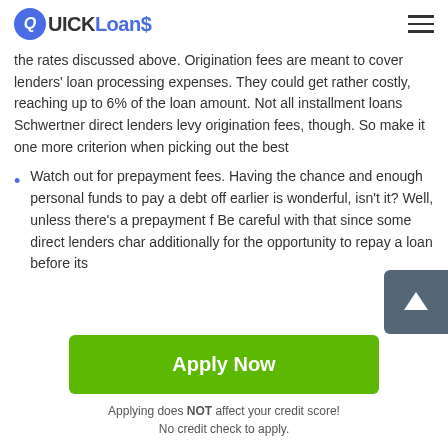QUICK Loans
the rates discussed above. Origination fees are meant to cover lenders' loan processing expenses. They could get rather costly, reaching up to 6% of the loan amount. Not all installment loans Schwertner direct lenders levy origination fees, though. So make it one more criterion when picking out the best
Watch out for prepayment fees. Having the chance and enough personal funds to pay a debt off earlier is wonderful, isn't it? Well, unless there's a prepayment f Be careful with that since some direct lenders char additionally for the opportunity to repay a loan before its
Apply Now
Applying does NOT affect your credit score!
No credit check to apply.